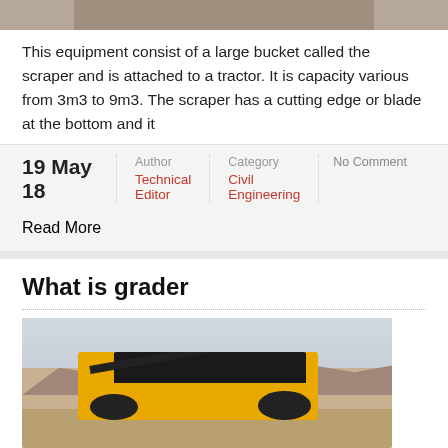[Figure (photo): Top portion of a scraper equipment photo, partially visible at top of page]
This equipment consist of a large bucket called the scraper and is attached to a tractor. It is capacity various from 3m3 to 9m3. The scraper has a cutting edge or blade at the bottom and it
19 May 18 | Author: Technical Editor | Category: Civil Engineering | No Comment
Read More
What is grader
[Figure (photo): A yellow motor grader (road grading machine) on a dirt road with mountainous terrain in the background]